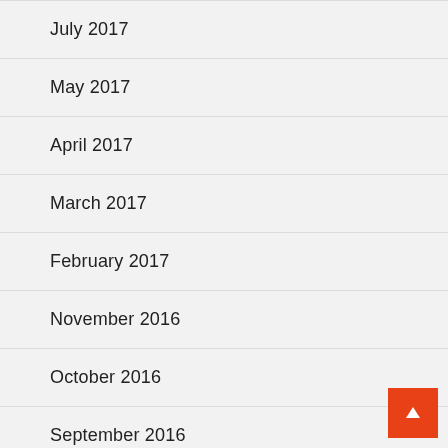July 2017
May 2017
April 2017
March 2017
February 2017
November 2016
October 2016
September 2016
May 2016
February 2016